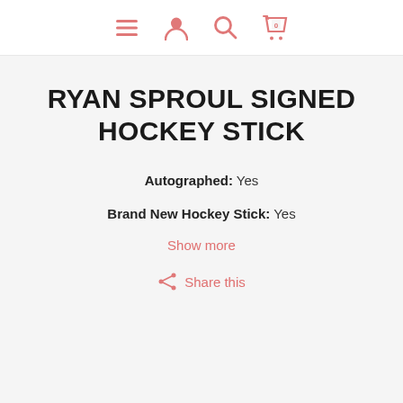[nav icons: menu, user, search, cart(0)]
RYAN SPROUL SIGNED HOCKEY STICK
Autographed: Yes
Brand New Hockey Stick: Yes
Show more
Share this